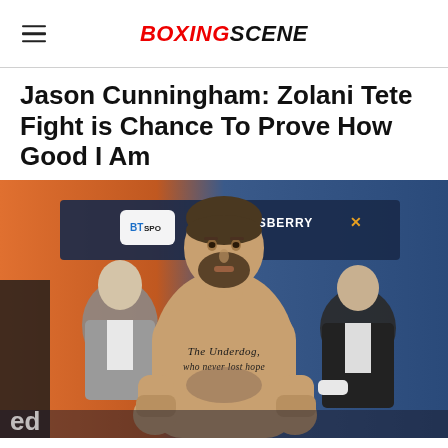BOXINGSCENE
Jason Cunningham: Zolani Tete Fight is Chance To Prove How Good I Am
[Figure (photo): Jason Cunningham shirtless at weigh-in, chest tattoo reading 'The Underdog who never lost hope', BT Sport and Queensberry logos visible in background, two men in suits standing behind him]